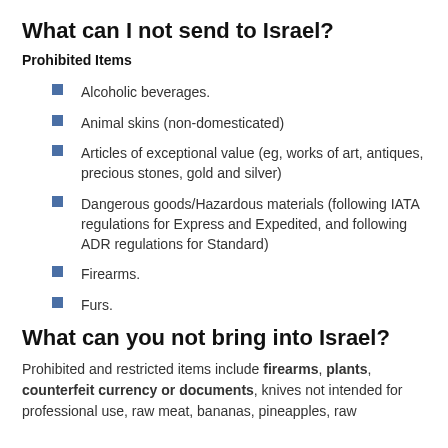What can I not send to Israel?
Prohibited Items
Alcoholic beverages.
Animal skins (non-domesticated)
Articles of exceptional value (eg, works of art, antiques, precious stones, gold and silver)
Dangerous goods/Hazardous materials (following IATA regulations for Express and Expedited, and following ADR regulations for Standard)
Firearms.
Furs.
What can you not bring into Israel?
Prohibited and restricted items include firearms, plants, counterfeit currency or documents, knives not intended for professional use, raw meat, bananas, pineapples, raw